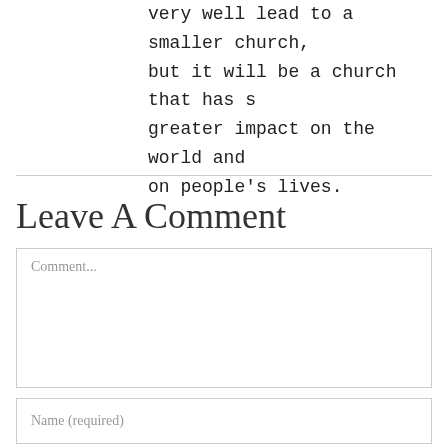very well lead to a smaller church, but it will be a church that has s greater impact on the world and on people’s lives.
Leave A Comment
Comment...
Name (required)